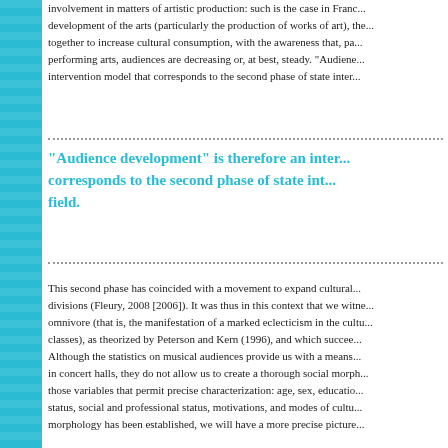involvement in matters of artistic production: such is the case in France... development of the arts (particularly the production of works of art), the... together to increase cultural consumption, with the awareness that, pa... performing arts, audiences are decreasing or, at best, steady. "Audiene... intervention model that corresponds to the second phase of state inter...
"Audience development" is therefore an inter... corresponds to the second phase of state int... field.
This second phase has coincided with a movement to expand cultural... divisions (Fleury, 2008 [2006]). It was thus in this context that we witne... omnivore (that is, the manifestation of a marked eclecticism in the cultu... classes), as theorized by Peterson and Kern (1996), and which succee... Although the statistics on musical audiences provide us with a means... in concert halls, they do not allow us to create a thorough social morph... those variables that permit precise characterization: age, sex, educatio... status, social and professional status, motivations, and modes of cultu... morphology has been established, we will have a more precise picture...